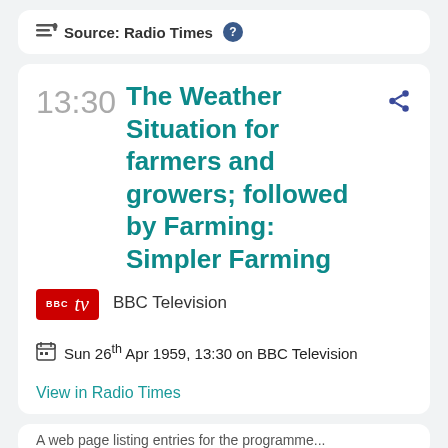Source: Radio Times
The Weather Situation for farmers and growers; followed by Farming: Simpler Farming
BBC Television
Sun 26th Apr 1959, 13:30 on BBC Television
View in Radio Times
13:30